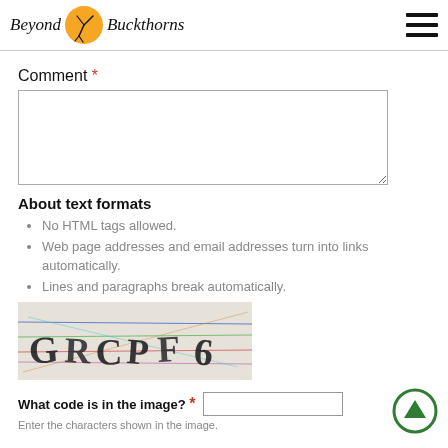Beyond Buckthorns
Comment *
About text formats
No HTML tags allowed.
Web page addresses and email addresses turn into links automatically.
Lines and paragraphs break automatically.
[Figure (other): CAPTCHA image with distorted text GRCPF 6 on a multicolored noise background]
What code is in the image? *
Enter the characters shown in the image.